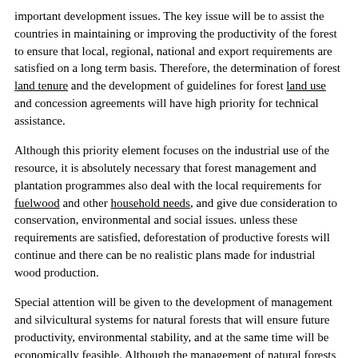important development issues. The key issue will be to assist the countries in maintaining or improving the productivity of the forest to ensure that local, regional, national and export requirements are satisfied on a long term basis. Therefore, the determination of forest land tenure and the development of guidelines for forest land use and concession agreements will have high priority for technical assistance.
Although this priority element focuses on the industrial use of the resource, it is absolutely necessary that forest management and plantation programmes also deal with the local requirements for fuelwood and other household needs, and give due consideration to conservation, environmental and social issues. unless these requirements are satisfied, deforestation of productive forests will continue and there can be no realistic plans made for industrial wood production.
Special attention will be given to the development of management and silvicultural systems for natural forests that will ensure future productivity, environmental stability, and at the same time will be economically feasible. Although the management of natural forests will continue to have high priority, plantation establishment and management will, in many cases, be included in the overall approach. Industrial plantations will diminish the pressure on the natural forests, the technology involved includes fewer